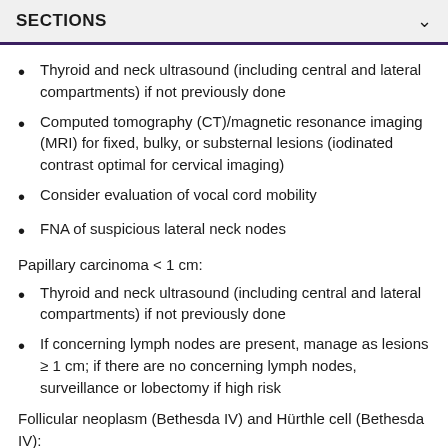SECTIONS
Thyroid and neck ultrasound (including central and lateral compartments) if not previously done
Computed tomography (CT)/magnetic resonance imaging (MRI) for fixed, bulky, or substernal lesions (iodinated contrast optimal for cervical imaging)
Consider evaluation of vocal cord mobility
FNA of suspicious lateral neck nodes
Papillary carcinoma < 1 cm:
Thyroid and neck ultrasound (including central and lateral compartments) if not previously done
If concerning lymph nodes are present, manage as lesions ≥ 1 cm; if there are no concerning lymph nodes, surveillance or lobectomy if high risk
Follicular neoplasm (Bethesda IV) and Hürthle cell (Bethesda IV):
Thyroid and neck ultrasound (including central and lateral compartments) if not previously done